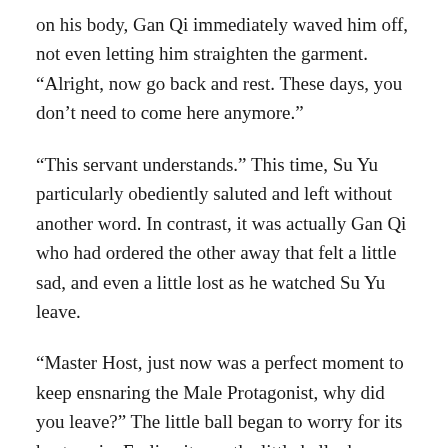on his body, Gan Qi immediately waved him off, not even letting him straighten the garment. “Alright, now go back and rest. These days, you don’t need to come here anymore.”
“This servant understands.” This time, Su Yu particularly obediently saluted and left without another word. In contrast, it was actually Gan Qi who had ordered the other away that felt a little sad, and even a little lost as he watched Su Yu leave.
“Master Host, just now was a perfect moment to keep ensnaring the Male Protagonist, why did you leave?” The little ball began to worry for its host again. Earlier, it was the little ball who was against Su Yu coming over, and now it was also it who was against Su Yu leaving.